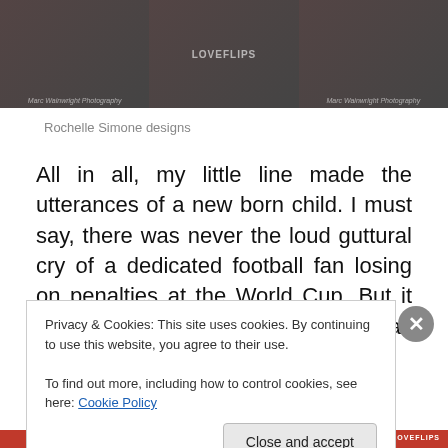[Figure (photo): Three fashion photography panels showing models with red shoes and accessories, with watermarks]
Rochelle Simone designs
All in all, my little line made the utterances of a new born child. I must say, there was never the loud guttural cry of a dedicated football fan losing on penalties at the World Cup. But it was exciting. And suddenly there was a halt.
Privacy & Cookies: This site uses cookies. By continuing to use this website, you agree to their use.
To find out more, including how to control cookies, see here: Cookie Policy
Close and accept